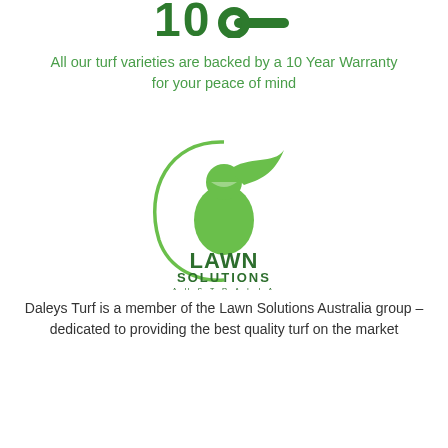[Figure (logo): Partial view of a '10 Year Warranty' badge/logo in dark green, cropped at top]
All our turf varieties are backed by a 10 Year Warranty for your peace of mind
[Figure (logo): Lawn Solutions Australia logo — green knight/squire figure with curved arc above, text 'LAWN SOLUTIONS AUSTRALIA' below]
Daleys Turf is a member of the Lawn Solutions Australia group – dedicated to providing the best quality turf on the market